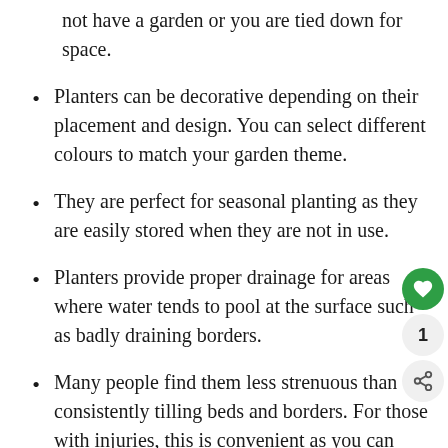not have a garden or you are tied down for space.
Planters can be decorative depending on their placement and design. You can select different colours to match your garden theme.
They are perfect for seasonal planting as they are easily stored when they are not in use.
Planters provide proper drainage for areas where water tends to pool at the surface such as badly draining borders.
Many people find them less strenuous than consistently tilling beds and borders. For those with injuries, this is convenient as you can also work at a better working height, even if in a